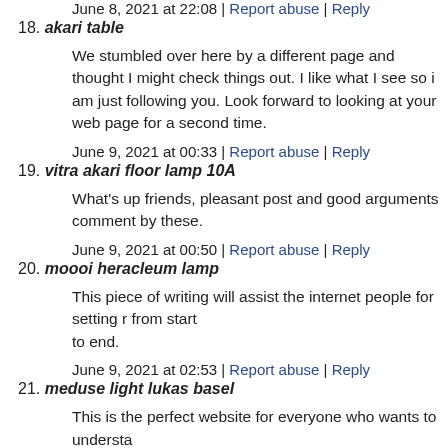June 8, 2021 at 22:08 | Report abuse | Reply
18. akari table
We stumbled over here by a different page and thought I might check things out. I like what I see so i am just following you. Look forward to looking at your web page for a second time.
June 9, 2021 at 00:33 | Report abuse | Reply
19. vitra akari floor lamp 10A
What's up friends, pleasant post and good arguments commented by these.
June 9, 2021 at 00:50 | Report abuse | Reply
20. moooi heracleum lamp
This piece of writing will assist the internet people for setting from start to end.
June 9, 2021 at 02:53 | Report abuse | Reply
21. meduse light lukas basel
This is the perfect website for everyone who wants to understand. You realize so much its almost hard to argue with you (not that…